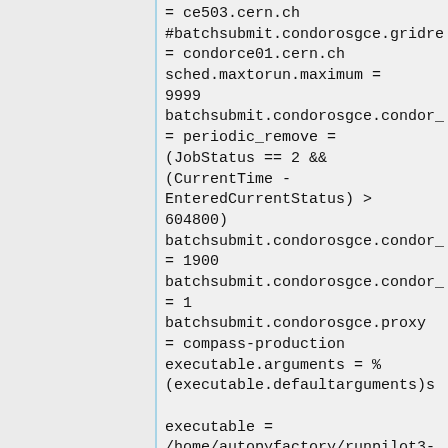= ce503.cern.ch
#batchsubmit.condorosgce.gridre
= condorce01.cern.ch
sched.maxtorun.maximum =
9999
batchsubmit.condorosgce.condor_
= periodic_remove =
(JobStatus == 2 &&
(CurrentTime -
EnteredCurrentStatus) >
604800)
batchsubmit.condorosgce.condor_
= 1900
batchsubmit.condorosgce.condor_
= 1
batchsubmit.condorosgce.proxy
= compass-production
executable.arguments = %
(executable.defaultarguments)s

executable =
/home/autopyfactory/runpilot3-
wrapper-compass.sh
executable.defaultarguments
= -F COMPASS -s %